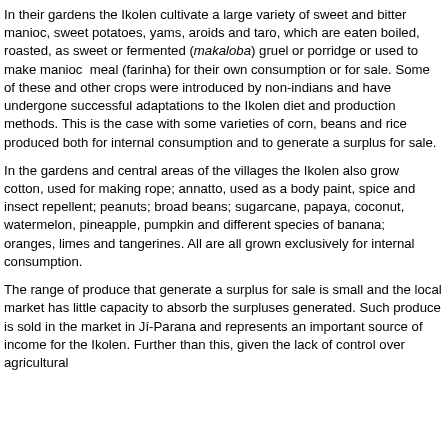In their gardens the Ikolen cultivate a large variety of sweet and bitter manioc, sweet potatoes, yams, aroids and taro, which are eaten boiled, roasted, as sweet or fermented (makaloba) gruel or porridge or used to make manioc  meal (farinha) for their own consumption or for sale. Some of these and other crops were introduced by non-indians and have undergone successful adaptations to the Ikolen diet and production methods. This is the case with some varieties of corn, beans and rice produced both for internal consumption and to generate a surplus for sale.
In the gardens and central areas of the villages the Ikolen also grow cotton, used for making rope; annatto, used as a body paint, spice and insect repellent; peanuts; broad beans; sugarcane, papaya, coconut, watermelon, pineapple, pumpkin and different species of banana;  oranges, limes and tangerines. All are all grown exclusively for internal consumption.
The range of produce that generate a surplus for sale is small and the local market has little capacity to absorb the surpluses generated. Such produce is sold in the market in Jí-Parana and represents an important source of income for the Ikolen. Further than this, given the lack of control over agricultural